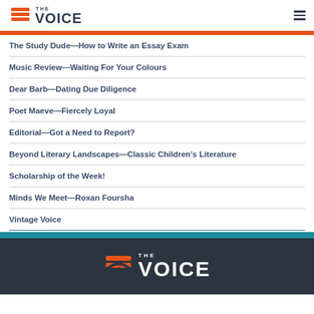THE VOICE
The Study Dude—How to Write an Essay Exam
Music Review—Waiting For Your Colours
Dear Barb—Dating Due Diligence
Poet Maeve—Fiercely Loyal
Editorial—Got a Need to Report?
Beyond Literary Landscapes—Classic Children's Literature
Scholarship of the Week!
Minds We Meet—Roxan Foursha
Vintage Voice
THE VOICE